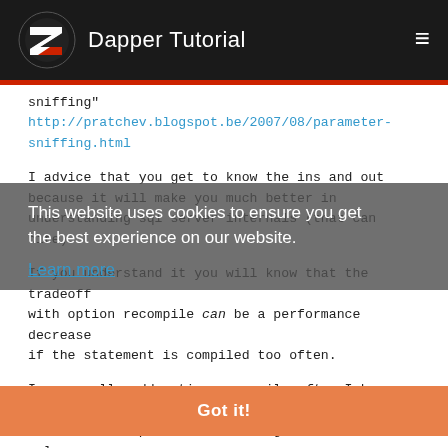Dapper Tutorial
sniffing"
http://pratchev.blogspot.be/2007/08/parameter-sniffing.html
I advice that you get to know the ins and out because it will make you much better in understanding sql server internals (that can bite).
If you understand it you will know that the tradeoff with option recompile can be a performance decrease if the statement is compiled too often.
I personally add option recompile after I know the root cause is parameter sniffing and leave it in unless there is a performance issue. Rewriting a statement to avoid bad parameter sniffing leads to loss of intent and this lowers maintainability. But there are cases
This website uses cookies to ensure you get the best experience on our website.
Learn more
Got it!